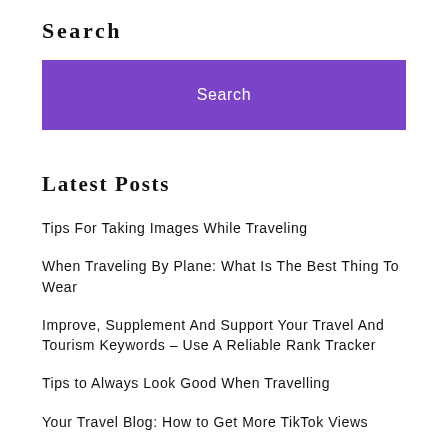Search
[Figure (other): Purple search button widget]
Latest Posts
Tips For Taking Images While Traveling
When Traveling By Plane: What Is The Best Thing To Wear
Improve, Supplement And Support Your Travel And Tourism Keywords – Use A Reliable Rank Tracker
Tips to Always Look Good When Travelling
Your Travel Blog: How to Get More TikTok Views